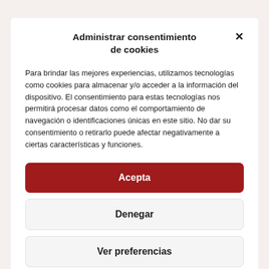Administrar consentimiento de cookies
Para brindar las mejores experiencias, utilizamos tecnologías como cookies para almacenar y/o acceder a la información del dispositivo. El consentimiento para estas tecnologías nos permitirá procesar datos como el comportamiento de navegación o identificaciones únicas en este sitio. No dar su consentimiento o retirarlo puede afectar negativamente a ciertas características y funciones.
Acepta
Denegar
Ver preferencias
Política de cookies